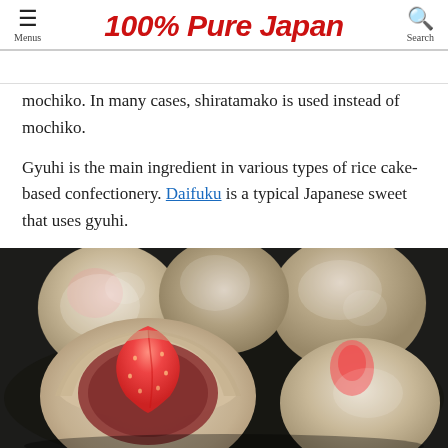100% Pure Japan
mochiko. In many cases, shiratamako is used instead of mochiko.
Gyuhi is the main ingredient in various types of rice cake-based confectionery. Daifuku is a typical Japanese sweet that uses gyuhi.
[Figure (photo): Close-up photo of daifuku mochi Japanese sweets. Shows several round mochi balls dusted with white powder, with one cut open revealing a strawberry inside and red bean paste filling.]